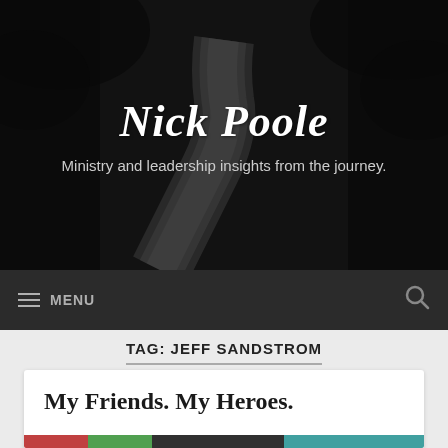[Figure (photo): Black and white photo of a winding road through dark trees, used as a hero banner background with site title overlay]
Nick Poole
Ministry and leadership insights from the journey.
MENU
TAG: JEFF SANDSTROM
My Friends. My Heroes.